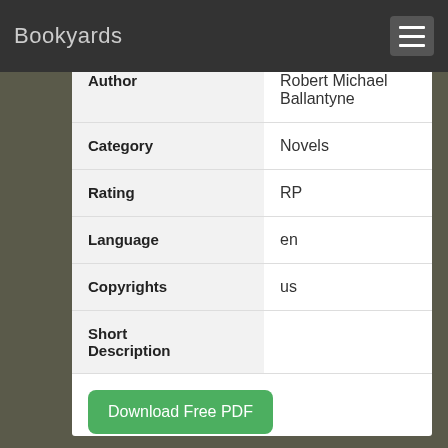Bookyards
| Field | Value |
| --- | --- |
| Author | Robert Michael Ballantyne |
| Category | Novels |
| Rating | RP |
| Language | en |
| Copyrights | us |
| Short Description |  |
Download Free PDF
Robert Michael Ballantyne
Novels
Convert to Kobo